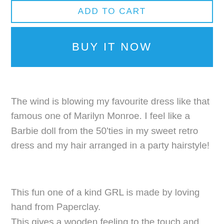ADD TO CART
BUY IT NOW
The wind is blowing my favourite dress like that famous one of Marilyn Monroe. I feel like a Barbie doll from the 50'ties in my sweet retro dress and my hair arranged in a party hairstyle!
This fun one of a kind GRL is made by loving hand from Paperclay.
This gives a wooden feeling to the touch and she has several coats of varnish protect her paint.